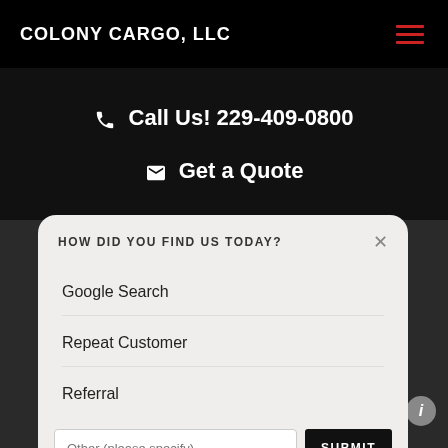COLONY CARGO, LLC
Call Us! 229-409-0800
Get a Quote
HOW DID YOU FIND US TODAY?
Google Search
Repeat Customer
Referral
Other (please specify)
SUBMIT